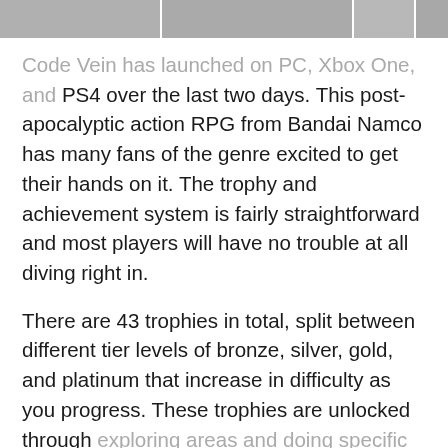[Figure (screenshot): Blurred/pixelated header image strip showing game screenshots or UI elements across the top of the page]
Code Vein has launched on PC, Xbox One, and PS4 over the last two days. This post-apocalyptic action RPG from Bandai Namco has many fans of the genre excited to get their hands on it. The trophy and achievement system is fairly straightforward and most players will have no trouble at all diving right in.

There are 43 trophies in total, split between different tier levels of bronze, silver, gold, and platinum that increase in difficulty as you progress. These trophies are unlocked through exploring areas and doing specific things in game.